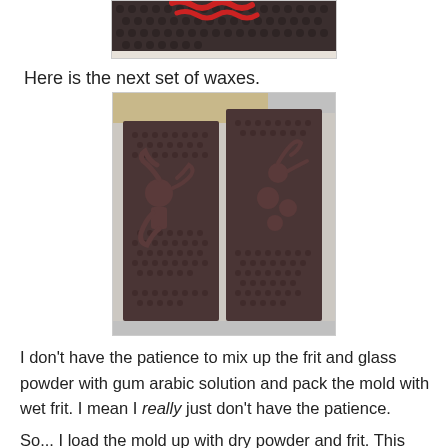[Figure (photo): Top portion of a dark honeycomb-patterned wax mold with red decorative elements visible at the top edge]
Here is the next set of waxes.
[Figure (photo): Two dark brown wax molds side by side on a honeycomb-textured mat, each showing sculptural figures with curling tentacle-like forms and spherical elements against the dark background]
I don't have the patience to mix up the frit and glass powder with gum arabic solution and pack the mold with wet frit. I mean I really just don't have the patience.
So... I load the mold up with dry powder and frit. This kind of